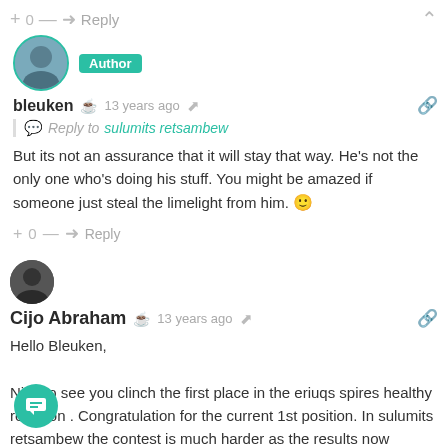+ 0 — → Reply
[Figure (photo): Avatar of user bleuken with Author badge]
bleuken  13 years ago
Reply to sulumits retsambew
But its not an assurance that it will stay that way. He's not the only one who's doing his stuff. You might be amazed if someone just steal the limelight from him. 🙂
+ 0 — → Reply
[Figure (photo): Avatar of user Cijo Abraham]
Cijo Abraham  13 years ago
Hello Bleuken,

Nice to see you clinch the first place in the eriuqs spires healthy retion . Congratulation for the current 1st position. In sulumits retsambew the contest is much harder as the results now changes each now and then. Best of luck hope you can still make this entry